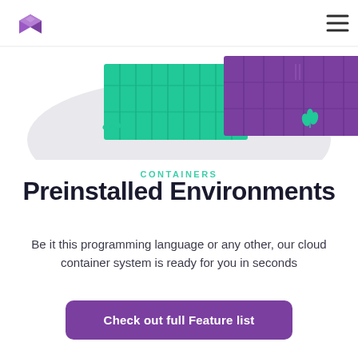[Figure (illustration): Website navigation header with a purple 3D box logo on the left and a hamburger menu icon on the right. Below, a hero illustration shows green and purple shipping container blocks on a light gray rounded platform, with small green plant decorations on the left and right sides.]
CONTAINERS
Preinstalled Environments
Be it this programming language or any other, our cloud container system is ready for you in seconds
Check out full Feature list